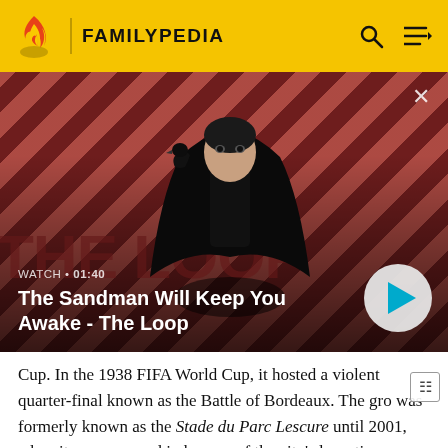FAMILYPEDIA
[Figure (screenshot): Video thumbnail showing a figure with a black bird on shoulder against red diagonal striped background. Title: The Sandman Will Keep You Awake - The Loop. Watch duration 01:40 shown with a play button.]
Cup. In the 1938 FIFA World Cup, it hosted a violent quarter-final known as the Battle of Bordeaux. The gro was formerly known as the Stade du Parc Lescure until 2001, when it was renamed in honour of the city's long-time mayor, Jacques Chaban-Delmas.